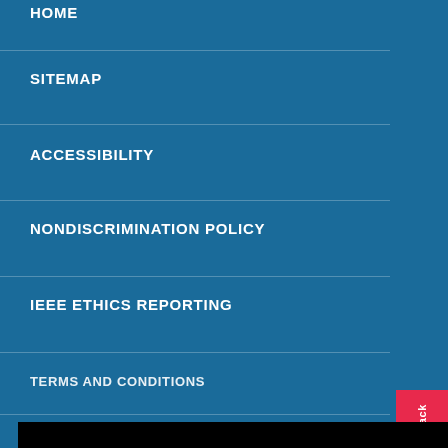HOME
SITEMAP
ACCESSIBILITY
NONDISCRIMINATION POLICY
IEEE ETHICS REPORTING
TERMS AND CONDITIONS (partial)
IEEE websites place cookies on your device to give you the best user experience. By using our websites, you agree to the placement of these cookies. To learn more, read our Privacy Policy.
Accept & Close
Back to Top